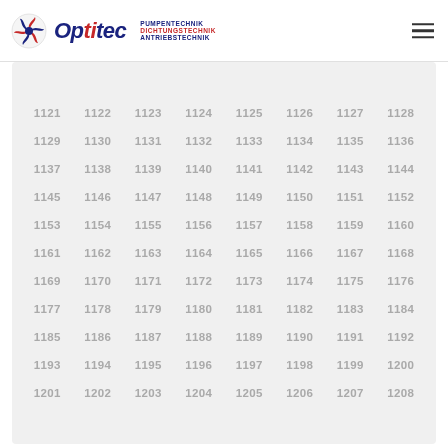Optitec – PUMPENTECHNIK DICHTUNGSTECHNIK ANTRIEBSTECHNIK
| 1121 | 1122 | 1123 | 1124 | 1125 | 1126 | 1127 | 1128 |
| 1129 | 1130 | 1131 | 1132 | 1133 | 1134 | 1135 | 1136 |
| 1137 | 1138 | 1139 | 1140 | 1141 | 1142 | 1143 | 1144 |
| 1145 | 1146 | 1147 | 1148 | 1149 | 1150 | 1151 | 1152 |
| 1153 | 1154 | 1155 | 1156 | 1157 | 1158 | 1159 | 1160 |
| 1161 | 1162 | 1163 | 1164 | 1165 | 1166 | 1167 | 1168 |
| 1169 | 1170 | 1171 | 1172 | 1173 | 1174 | 1175 | 1176 |
| 1177 | 1178 | 1179 | 1180 | 1181 | 1182 | 1183 | 1184 |
| 1185 | 1186 | 1187 | 1188 | 1189 | 1190 | 1191 | 1192 |
| 1193 | 1194 | 1195 | 1196 | 1197 | 1198 | 1199 | 1200 |
| 1201 | 1202 | 1203 | 1204 | 1205 | 1206 | 1207 | 1208 |